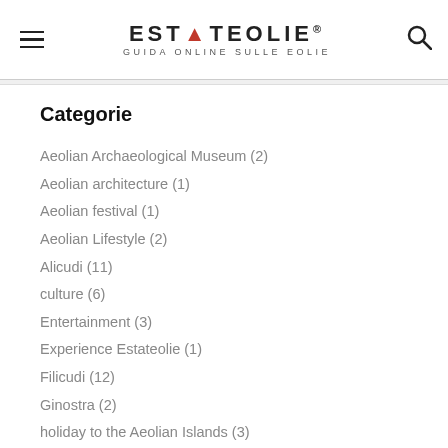ESTATEOLIE® GUIDA ONLINE SULLE EOLIE
Categorie
Aeolian Archaeological Museum (2)
Aeolian architecture (1)
Aeolian festival (1)
Aeolian Lifestyle (2)
Alicudi (11)
culture (6)
Entertainment (3)
Experience Estateolie (1)
Filicudi (12)
Ginostra (2)
holiday to the Aeolian Islands (3)
Lipari (25)
movies filmed the Aeolian (1)
Panarea (13)
Reach the Aeolian islands (1)